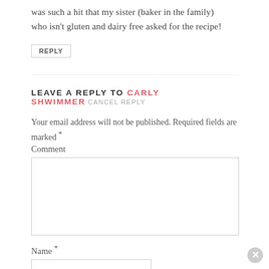was such a hit that my sister (baker in the family) who isn't gluten and dairy free asked for the recipe!
REPLY
LEAVE A REPLY TO CARLY SHWIMMER CANCEL REPLY
Your email address will not be published. Required fields are marked *
Comment
Name *